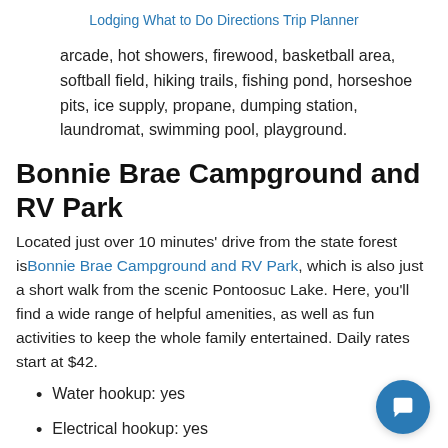Lodging   What to Do   Directions   Trip Planner
arcade, hot showers, firewood, basketball area, softball field, hiking trails, fishing pond, horseshoe pits, ice supply, propane, dumping station, laundromat, swimming pool, playground.
Bonnie Brae Campground and RV Park
Located just over 10 minutes' drive from the state forest is Bonnie Brae Campground and RV Park, which is also just a short walk from the scenic Pontoosuc Lake. Here, you'll find a wide range of helpful amenities, as well as fun activities to keep the whole family entertained. Daily rates start at $42.
Water hookup: yes
Electrical hookup: yes